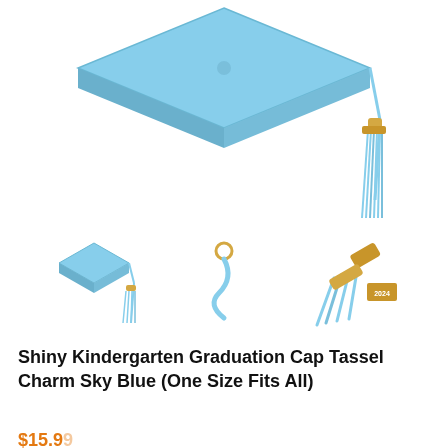[Figure (photo): Main product photo: light sky blue graduation mortarboard cap and tassel on white background. The cap is shown from above-front angle, with the blue tassel hanging to the right.]
[Figure (photo): Three thumbnail images of the product: left shows full cap with tassel, center shows close-up of tassel charm/hook, right shows close-up of tassel with gold charm.]
Shiny Kindergarten Graduation Cap Tassel Charm Sky Blue (One Size Fits All)
$15.99